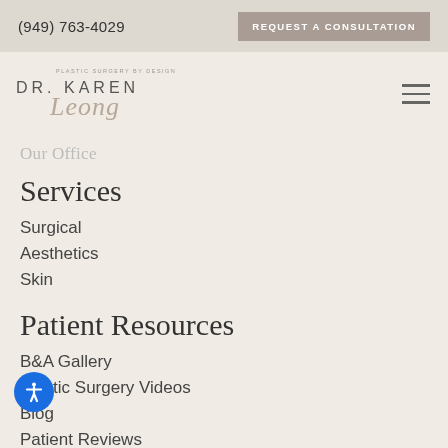(949) 763-4029   REQUEST A CONSULTATION
[Figure (logo): Dr. Karen Leong plastic surgery logo with script signature]
Our Office
Services
Surgical
Aesthetics
Skin
Patient Resources
B&A Gallery
Plastic Surgery Videos
Blog
Patient Reviews
Patient Success Stories